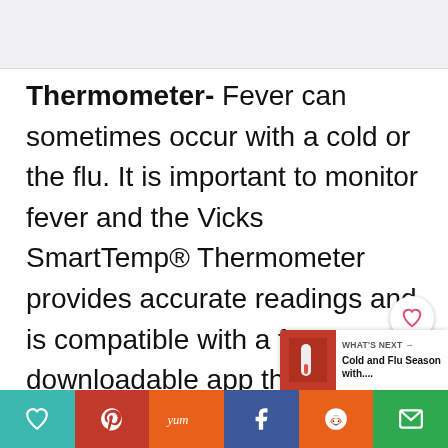[Figure (photo): Top banner image area (partially visible, light gray)]
Thermometer- Fever can sometimes occur with a cold or the flu. It is important to monitor fever and the Vicks SmartTemp® Thermometer provides accurate readings and is compatible with a free downloadable app that makes it easy to take and track temperature
[Figure (infographic): Social sharing buttons bar at bottom: heart/save, Pinterest, Yummly, Facebook, Reddit, Email. Also a 'WHAT'S NEXT' widget showing Cold and Flu Season thumbnail.]